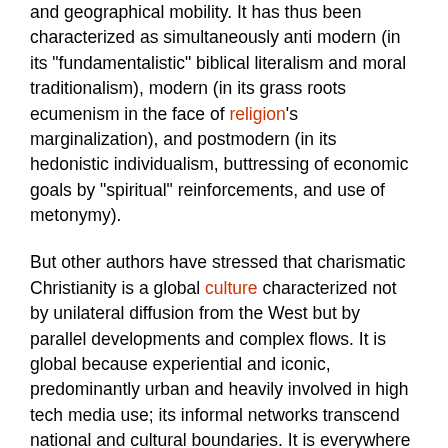and geographical mobility. It has thus been characterized as simultaneously anti modern (in its "fundamentalistic" biblical literalism and moral traditionalism), modern (in its grass roots ecumenism in the face of religion's marginalization), and postmodern (in its hedonistic individualism, buttressing of economic goals by "spiritual" reinforcements, and use of metonymy).
But other authors have stressed that charismatic Christianity is a global culture characterized not by unilateral diffusion from the West but by parallel developments and complex flows. It is global because experiential and iconic, predominantly urban and heavily involved in high tech media use; its informal networks transcend national and cultural boundaries. It is everywhere recognizable by its expressive worship and its cultivation of the immanence of God and the